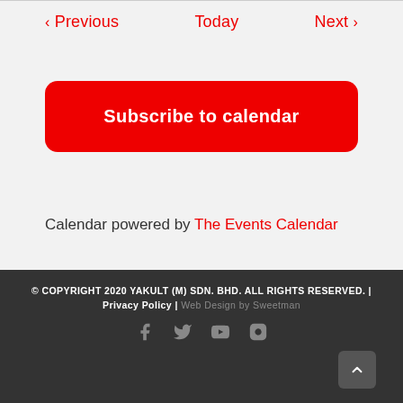< Previous   Today   Next >
Subscribe to calendar
Calendar powered by The Events Calendar
© COPYRIGHT 2020 YAKULT (M) SDN. BHD. ALL RIGHTS RESERVED. | Privacy Policy | Web Design by Sweetman